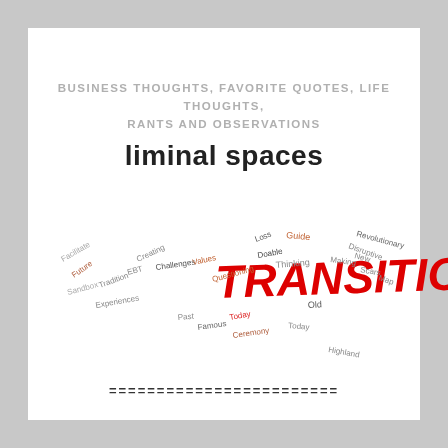BUSINESS THOUGHTS, FAVORITE QUOTES, LIFE THOUGHTS, RANTS AND OBSERVATIONS
liminal spaces
[Figure (infographic): Word cloud centered on the large red handwritten word TRANSITION, surrounded by smaller words in various colors and orientations including: Loss, Guide, Doable, Creating, EBT, Challenges, Values, Questioning, Thinking, Making, New, Disruptive, Revolutionary, Old, Ceremony, Future, Past, Famous, Today, Highland, Scars, Experiences, Facilitate, Sandbox, Today, Tradition]
========================